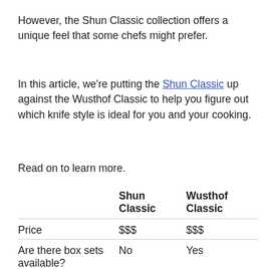However, the Shun Classic collection offers a unique feel that some chefs might prefer.
In this article, we're putting the Shun Classic up against the Wusthof Classic to help you figure out which knife style is ideal for you and your cooking.
Read on to learn more.
|  | Shun Classic | Wusthof Classic |
| --- | --- | --- |
| Price | $$$ | $$$ |
| Are there box sets available? | No | Yes |